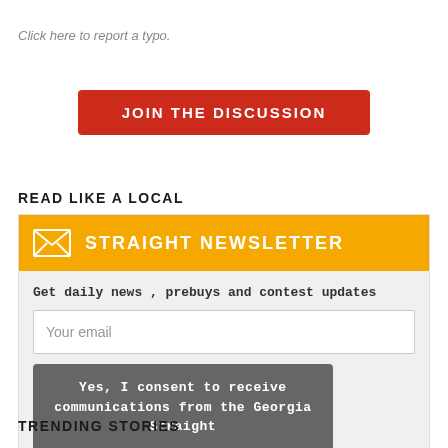Click here to report a typo.
JOIN THE DISCUSSION
READ LIKE A LOCAL
[Figure (infographic): Straight Newsletter signup box with orange header, email input field, and consent button]
TRENDING STORIES